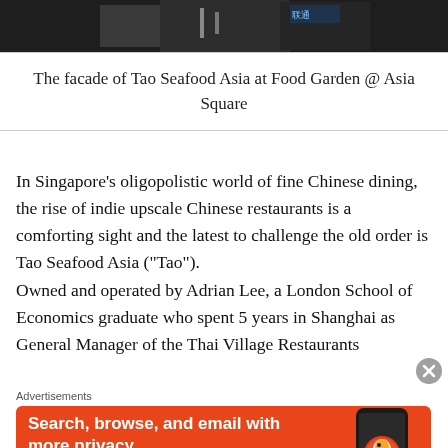[Figure (photo): Dark photo strip showing the facade of Tao Seafood Asia restaurant at Food Garden @ Asia Square]
The facade of Tao Seafood Asia at Food Garden @ Asia Square
In Singapore’s oligopolistic world of fine Chinese dining, the rise of indie upscale Chinese restaurants is a comforting sight and the latest to challenge the old order is Tao Seafood Asia (“Tao”).
Owned and operated by Adrian Lee, a London School of Economics graduate who spent 5 years in Shanghai as General Manager of the Thai Village Restaurants
Advertisements
[Figure (screenshot): DuckDuckGo advertisement banner: orange background with white text reading 'Search, browse, and email with more privacy. All in One Free App' with a DuckDuckGo branded phone mockup on the right]